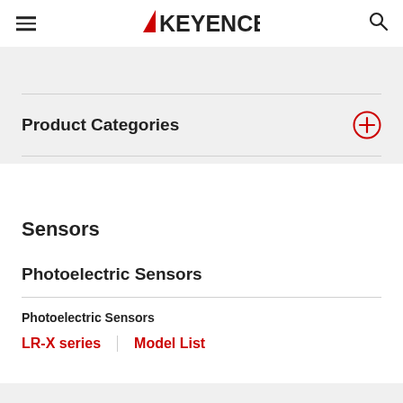KEYENCE
Product Categories
Sensors
Photoelectric Sensors
Photoelectric Sensors
LR-X series | Model List